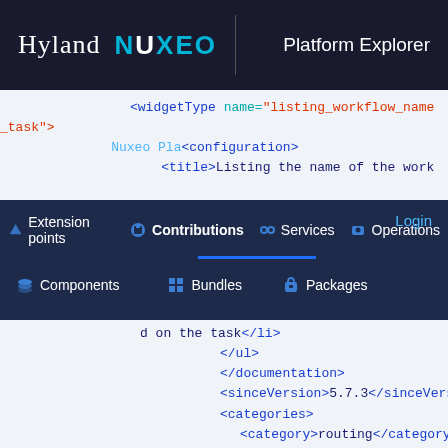Hyland | NUXEO  Platform Explorer
<widgetType name="listing_workflow_name_task">
    <configuration>
      <title>Listing the name of the work
Extension points  Contributions  Services  Operations
Components  Bundles  Packages
d on the task</li>
        </ul>
        </documentation>
        <sinceVersion>5.7.3</sinceVersion>
        <categories>
          <category>routing</category>
        </categories>
        <supportedModes>
          <mode>view</mode>
        </supportedModes>
        <fields>
          <list>false</list>
          <complex>false</complex>
          <supportedTypes>